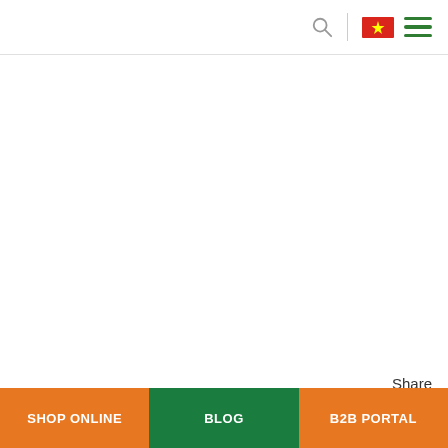Search | [Vietnam flag] [Menu]
Share
SHOP ONLINE | BLOG | B2B PORTAL